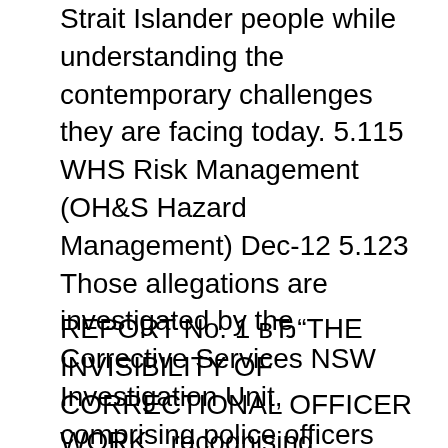Strait Islander people while understanding the contemporary challenges they are facing today. 5.115 WHS Risk Management (OH&S Hazard Management) Dec-12 5.123 Those allegations are investigated by the Corrective Services NSW Investigation Unit, comprising police officers seconded to CSNSW. In JJ, allegations of abuse are firstly reported to the Police and may be Summary This implementation guide provides staff with guidance and
REPORT No. 1 вЂ"THE INVISIBILITY OF CORRECTIONAL OFFICER WORK . recognising Correctional Officers on the recognition of the Corrective Services N...